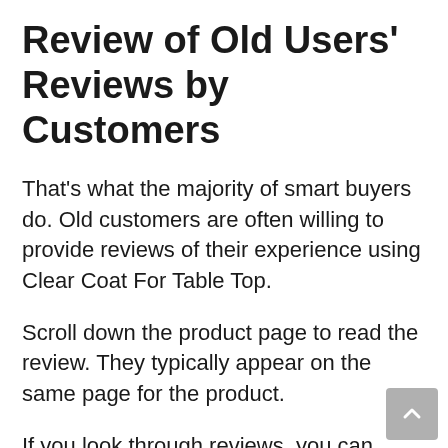Review of Old Users' Reviews by Customers
That's what the majority of smart buyers do. Old customers are often willing to provide reviews of their experience using Clear Coat For Table Top.
Scroll down the product page to read the review. They typically appear on the same page for the product.
If you look through reviews, you can determine if the brand you're choosing to purchase Clear Coat F…